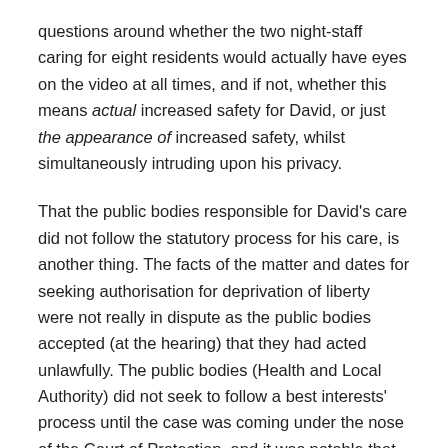questions around whether the two night-staff caring for eight residents would actually have eyes on the video at all times, and if not, whether this means actual increased safety for David, or just the appearance of increased safety, whilst simultaneously intruding upon his privacy.
That the public bodies responsible for David's care did not follow the statutory process for his care, is another thing. The facts of the matter and dates for seeking authorisation for deprivation of liberty were not really in dispute as the public bodies accepted (at the hearing) that they had acted unlawfully. The public bodies (Health and Local Authority) did not seek to follow a best interests' process until the case was coming under the nose of the Court of Protection, and it was notable that the case was brought by David (not